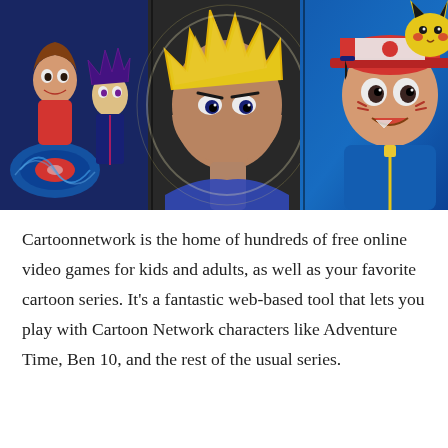[Figure (illustration): Collage of anime characters including Beyblade characters on the left, Super Saiyan Goku in the center, and Ash Ketchum with Pikachu from Pokemon on the right.]
Cartoonnetwork is the home of hundreds of free online video games for kids and adults, as well as your favorite cartoon series. It's a fantastic web-based tool that lets you play with Cartoon Network characters like Adventure Time, Ben 10, and the rest of the usual series.